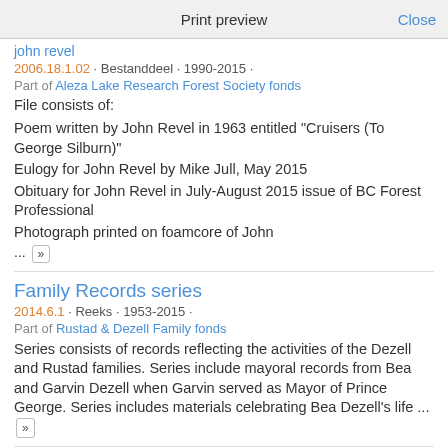Print preview   Close
john revel
2006.18.1.02 · Bestanddeel · 1990-2015 ·
Part of Aleza Lake Research Forest Society fonds
File consists of:
Poem written by John Revel in 1963 entitled "Cruisers (To George Silburn)"
Eulogy for John Revel by Mike Jull, May 2015
Obituary for John Revel in July-August 2015 issue of BC Forest Professional
Photograph printed on foamcore of John
... »
Family Records series
2014.6.1 · Reeks · 1953-2015 ·
Part of Rustad & Dezell Family fonds
Series consists of records reflecting the activities of the Dezell and Rustad families. Series include mayoral records from Bea and Garvin Dezell when Garvin served as Mayor of Prince George. Series includes materials celebrating Bea Dezell's life ... »
Personal Records